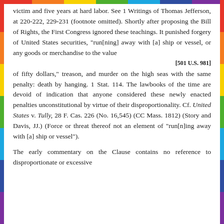victim and five years at hard labor. See 1 Writings of Thomas Jefferson, at 220-222, 229-231 (footnote omitted). Shortly after proposing the Bill of Rights, the First Congress ignored these teachings. It punished forgery of United States securities, "run[ning] away with [a] ship or vessel, or any goods or merchandise to the value
[501 U.S. 981]
of fifty dollars," treason, and murder on the high seas with the same penalty: death by hanging. 1 Stat. 114. The lawbooks of the time are devoid of indication that anyone considered these newly enacted penalties unconstitutional by virtue of their disproportionality. Cf. United States v. Tully, 28 F. Cas. 226 (No. 16,545) (CC Mass. 1812) (Story and Davis, JJ.) (Force or threat thereof not an element of "run[n]ing away with [a] ship or vessel").
The early commentary on the Clause contains no reference to disproportionate or excessive